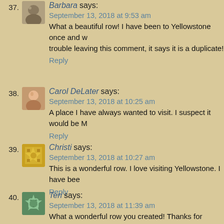37. Barbara says: September 13, 2018 at 9:53 am — What a beautiful row! I have been to Yellowstone once and w... trouble leaving this comment, it says it is a duplicate!
Reply
38. Carol DeLater says: September 13, 2018 at 10:25 am — A place I have always wanted to visit. I suspect it would be M...
Reply
39. Christi says: September 13, 2018 at 10:27 am — This is a wonderful row. I love visiting Yellowstone. I have bee...
Reply
40. Teri says: September 13, 2018 at 11:39 am — What a wonderful row you created! Thanks for sharing it. It's... Yellowstone but I would like to go again.